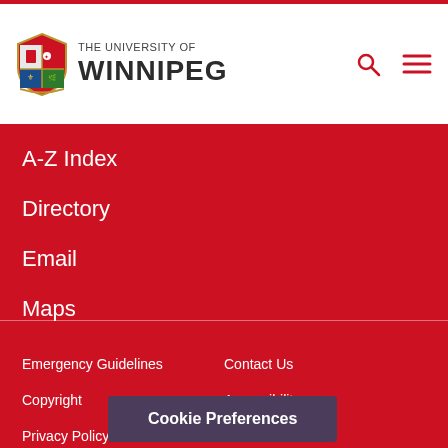The University of Winnipeg
A-Z Index
Directory
Email
Maps
Nexus
WebAdvisor
Emergency Guidelines
Contact Us
Copyright
Accessibility
Privacy Policy
Brand Guidelines
Cookie Preferences